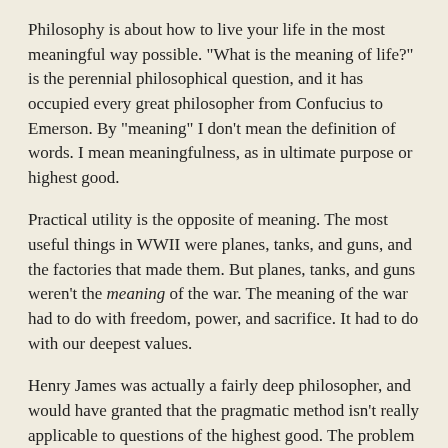Philosophy is about how to live your life in the most meaningful way possible. "What is the meaning of life?" is the perennial philosophical question, and it has occupied every great philosopher from Confucius to Emerson. By "meaning" I don't mean the definition of words. I mean meaningfulness, as in ultimate purpose or highest good.
Practical utility is the opposite of meaning. The most useful things in WWII were planes, tanks, and guns, and the factories that made them. But planes, tanks, and guns weren't the meaning of the war. The meaning of the war had to do with freedom, power, and sacrifice. It had to do with our deepest values.
Henry James was actually a fairly deep philosopher, and would have granted that the pragmatic method isn't really applicable to questions of the highest good. The problem is not that his thinking was wrong, but that he failed to give it a cohesive form beyond the notion of pragmatism, and this crippled later incarnations of his philosophy. (The problem of passing down philosophical knowledge is a deep and important one that needs more attention.) But if you ask a contemporary pragmatist about the "highest good" I guarantee they will answer something like, "I have no need for